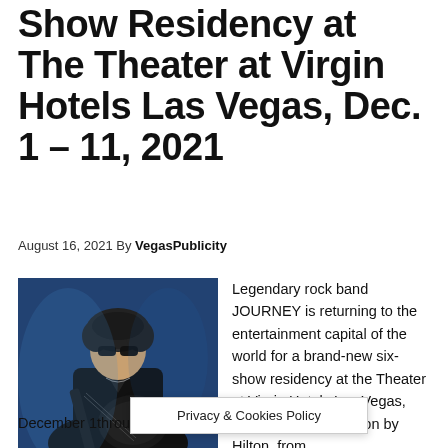Show Residency at The Theater at Virgin Hotels Las Vegas, Dec. 1 – 11, 2021
August 16, 2021 By VegasPublicity
[Figure (photo): A rock musician with curly dark hair, sunglasses, and black leather jacket playing a dark guitar on a blue-lit stage.]
Legendary rock band JOURNEY is returning to the entertainment capital of the world for a brand-new six-show residency at the Theater at Virgin Hotels Las Vegas, part of Curio Collection by Hilton, from December 1through Dec...beloved and
Privacy & Cookies Policy